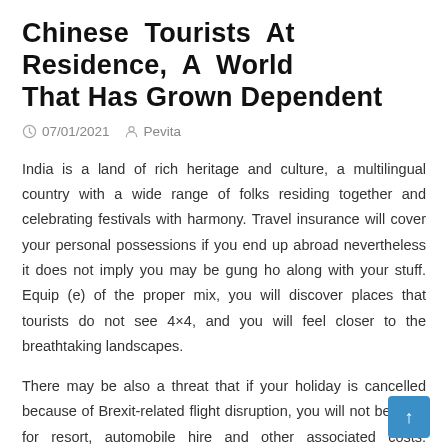Chinese Tourists At Residence, A World That Has Grown Dependent
07/01/2021  Pevita
India is a land of rich heritage and culture, a multilingual country with a wide range of folks residing together and celebrating festivals with harmony. Travel insurance will cover your personal possessions if you end up abroad nevertheless it does not imply you may be gung ho along with your stuff. Equip (e) of the proper mix, you will discover places that tourists do not see 4×4, and you will feel closer to the breathtaking landscapes.
There may be also a threat that if your holiday is cancelled because of Brexit-related flight disruption, you will not be lined for resort, automobile hire and other associated costs. Customer finds a beneath-market fee for a res room during an event weekend by way of our online travel